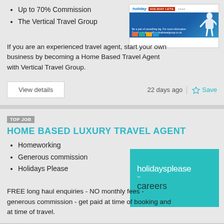Up to 70% Commission
The Vertical Travel Group
[Figure (logo): Vertical Travel Group logos: holiday, HOLIDAY LETS, and other brands with a woman raising arms on a blue banner]
If you are an experienced travel agent, start your own business by becoming a Home Based Travel Agent with Vertical Travel Group.
View details
22 days ago
Save
TOP JOB
HOME BASED LUXURY TRAVEL AGENT
Homeworking
Generous commission
Holidays Please
[Figure (logo): holidaysplease careers logo — teal background with white text]
FREE long haul enquiries - NO monthly fees - generous commission - get paid at time of booking and at time of travel.